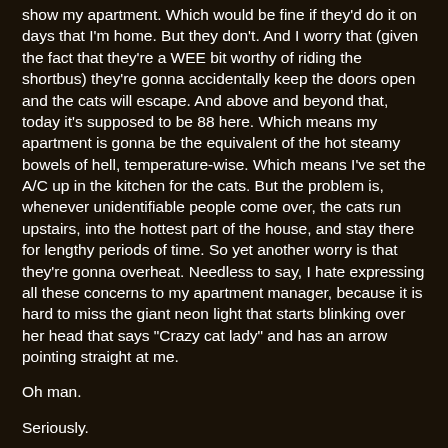show my apartment. Which would be fine if they'd do it on days that I'm home. But they don't. And I worry that (given the fact that they're a WEE bit worthy of riding the shortbus) they're gonna accidentally keep the doors open and the cats will escape. And above and beyond that, today it's supposed to be 88 here. Which means my apartment is gonna be the equivalent of the hot steamy bowels of hell, temperature-wise. Which means I've set the A/C up in the kitchen for the cats. But the problem is, whenever unidentifiable people come over, the cats run upstairs, into the hottest part of the house, and stay there for lengthy periods of time. So yet another worry is that they're gonna overheat. Needless to say, I hate expressing all these concerns to my apartment manager, because it is hard to miss the giant neon light that starts blinking over her head that says "Crazy cat lady" and has an arrow pointing straight at me.
Oh man.
Seriously.
I need someone to come over and just bake me lots of cookies and maybe sit on my lap and just tell me it's all okay.